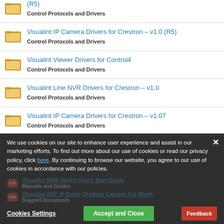(R5) — Control Protocols and Drivers
Visualint IP Camera Drivers for Crestron – v1.0 (R5) — Control Protocols and Drivers
Visualint Viewer Drivers for Control4 — Control Protocols and Drivers
Visualint Line NVR Drivers for Crestron – v1.0 — Control Protocols and Drivers
Visualint IP Camera Drivers for Crestron – v1.07 — Control Protocols and Drivers
Visualint 6000 Series Quick Start Guide — Manuals and Guides
Visualint 2MP IP Dome Outdoor Camera Cut Sheet — Support Documents
We use cookies on our site to enhance user experience and assist in our marketing efforts. To find out more about our use of cookies or read our privacy policy, click here. By continuing to browse our website, you agree to our use of cookies in accordance with our policies.
Cookies Settings | Accept and Close | Feedback